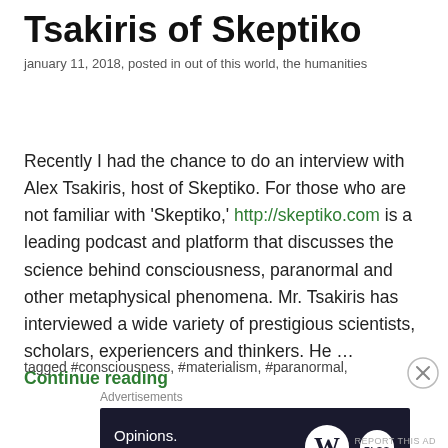Tsakiris of Skeptiko
january 11, 2018, posted in out of this world, the humanities
Recently I had the chance to do an interview with Alex Tsakiris, host of Skeptiko. For those who are not familiar with 'Skeptiko,' http://skeptiko.com is a leading podcast and platform that discusses the science behind consciousness, paranormal and other metaphysical phenomena. Mr. Tsakiris has interviewed a wide variety of prestigious scientists, scholars, experiencers and thinkers. He … Continue reading
tagged #consciousness, #materialism, #paranormal,
[Figure (screenshot): Advertisement banner: dark navy background with text 'Opinions. We all have them!' and WordPress logo icons on the right.]